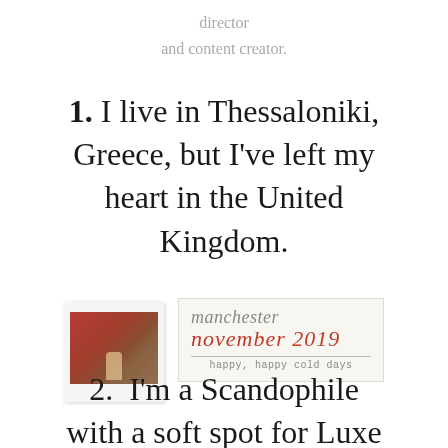director
and content creator.
1. I live in Thessaloniki, Greece, but I've left my heart in the United Kingdom.
[Figure (photo): A polaroid-style photo of a person sitting by a red door, alongside a decorative stamp reading 'manchester november 2019' with the caption 'happy, happy cold days']
2.  I'm a Scandophile with a soft spot for Luxe